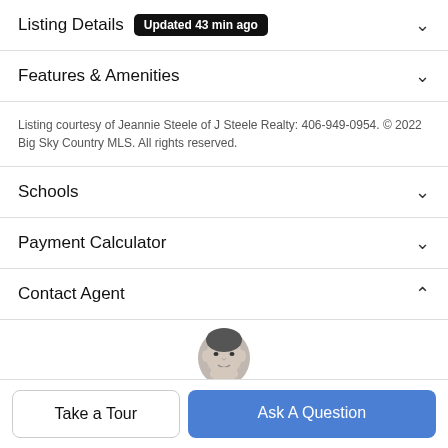Listing Details  Updated 43 min ago
Features & Amenities
Listing courtesy of Jeannie Steele of J Steele Realty: 406-949-0954. © 2022 Big Sky Country MLS. All rights reserved.
Schools
Payment Calculator
Contact Agent
[Figure (photo): Agent headshot photo, circular crop, black and white]
Take a Tour
Ask A Question